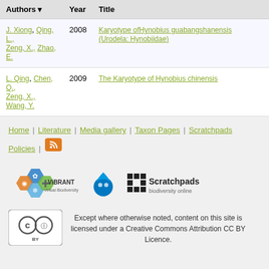| Authors | Year | Title |
| --- | --- | --- |
| J. Xiong, Qing, L., Zeng, X., Zhao, E. | 2008 | Karyotype ofHynobius guabangshanensis (Urodela: Hynobiidae) |
| L. Qing, Chen, Q., Zeng, X., Wang, Y. | 2009 | The Karyotype of Hynobius chinensis |
Home | Literature | Media gallery | Taxon Pages | Scratchpads Policies |
[Figure (logo): ViBRANT Virtual Biodiversity logo, Drupal droplet logo, Scratchpads biodiversity online logo]
[Figure (logo): Creative Commons CC BY license badge]
Except where otherwise noted, content on this site is licensed under a Creative Commons Attribution CC BY Licence.